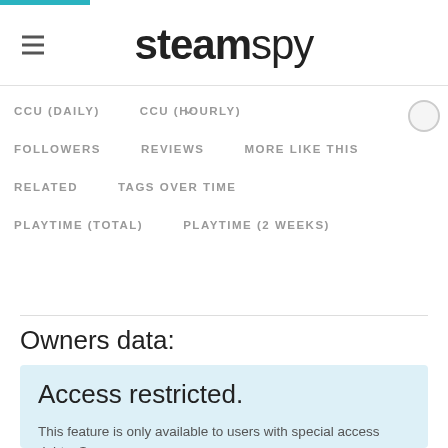steamspy
CCU (DAILY)   CCU (HOURLY)
FOLLOWERS   REVIEWS   MORE LIKE THIS
RELATED   TAGS OVER TIME
PLAYTIME (TOTAL)   PLAYTIME (2 WEEKS)
Owners data:
Access restricted.
This feature is only available to users with special access rights. Sorry.
If you want to proceed, you need to register or log in first and then back Steam Spy on Patreon. Look for